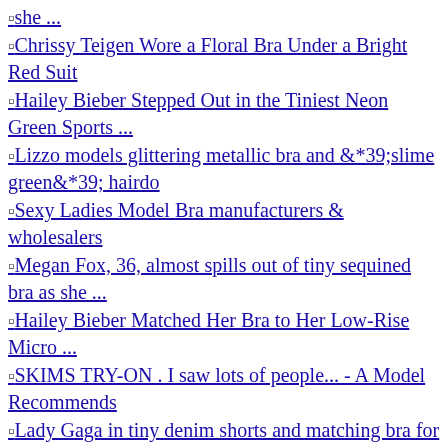she ...
Chrissy Teigen Wore a Floral Bra Under a Bright Red Suit
Hailey Bieber Stepped Out in the Tiniest Neon Green Sports ...
Lizzo models glittering metallic bra and &*39;slime green&*39; hairdo
Sexy Ladies Model Bra manufacturers & wholesalers
Megan Fox, 36, almost spills out of tiny sequined bra as she ...
Hailey Bieber Matched Her Bra to Her Low-Rise Micro ...
SKIMS TRY-ON . I saw lots of people... - A Model Recommends
Lady Gaga in tiny denim shorts and matching bra for dinner
Hailey Bieber Wore Three Minidresses in 24 Hours - Yahoo
Kendall Jenner showcases her model figure in tiny purple ...
Avidlove Women Lace Lingerie Set 2 Pieces Bralette Bra and ...
Romee Strijd shows off waist in sports bra at Cannes Film ...
Kim Kardashian shows off her ample assets in a tiny sports